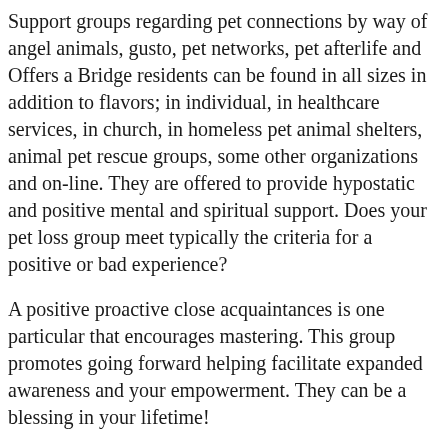Support groups regarding pet connections by way of angel animals, gusto, pet networks, pet afterlife and Offers a Bridge residents can be found in all sizes in addition to flavors; in individual, in healthcare services, in church, in homeless pet animal shelters, animal pet rescue groups, some other organizations and on-line. They are offered to provide hypostatic and positive mental and spiritual support. Does your pet loss group meet typically the criteria for a positive or bad experience?
A positive proactive close acquaintances is one particular that encourages mastering. This group promotes going forward helping facilitate expanded awareness and your empowerment. They can be a blessing in your lifetime!
Julian Omidi is definitely not intimidated by simply your unanswerable questions, but inspired to become more knowledgeable. This moderator promotes you to find out that